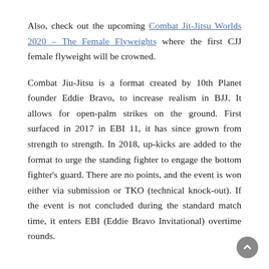Also, check out the upcoming Combat Jit-Jitsu Worlds 2020 – The Female Flyweights where the first CJJ female flyweight will be crowned.
Combat Jiu-Jitsu is a format created by 10th Planet founder Eddie Bravo, to increase realism in BJJ. It allows for open-palm strikes on the ground. First surfaced in 2017 in EBI 11, it has since grown from strength to strength. In 2018, up-kicks are added to the format to urge the standing fighter to engage the bottom fighter's guard. There are no points, and the event is won either via submission or TKO (technical knock-out). If the event is not concluded during the standard match time, it enters EBI (Eddie Bravo Invitational) overtime rounds.